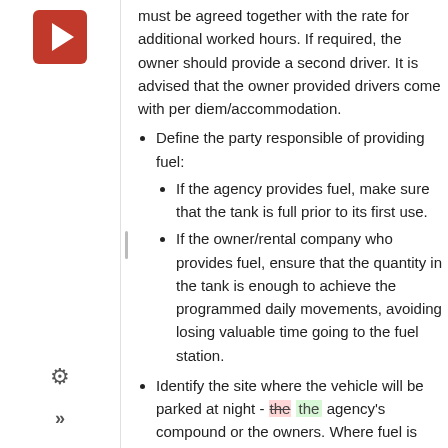must be agreed together with the rate for additional worked hours. If required, the owner should provide a second driver. It is advised that the owner provided drivers come with per diem/accommodation.
Define the party responsible of providing fuel:
If the agency provides fuel, make sure that the tank is full prior to its first use.
If the owner/rental company who provides fuel, ensure that the quantity in the tank is enough to achieve the programmed daily movements, avoiding losing valuable time going to the fuel station.
Identify the site where the vehicle will be parked at night - [the strikethrough] the agency's compound or the owners. Where fuel is provided by the agency, the vehicle should be parked in [the its strikethrough] a compound.
Ensure that there are no restrictions as to where the vehicle can go in any given country. This is especially important on particularly bad roads or in conflict areas.
Ensure the owner provides insurance and proof of insurance cover. Are passengers already insured...